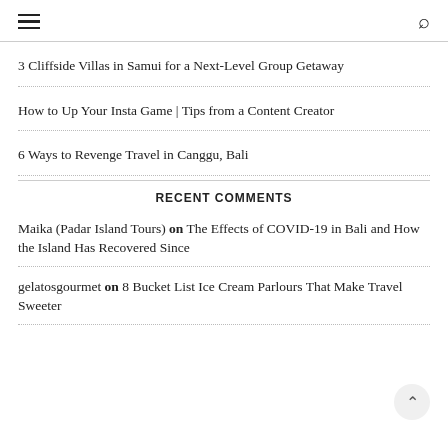≡  🔍
3 Cliffside Villas in Samui for a Next-Level Group Getaway
How to Up Your Insta Game | Tips from a Content Creator
6 Ways to Revenge Travel in Canggu, Bali
RECENT COMMENTS
Maika (Padar Island Tours) on The Effects of COVID-19 in Bali and How the Island Has Recovered Since
gelatosgourmet on 8 Bucket List Ice Cream Parlours That Make Travel Sweeter